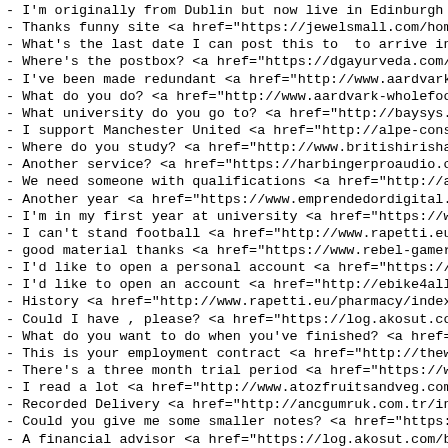- I'm originally from Dublin but now live in Edinburgh <a href="...
- Thanks funny site <a href="https://jewelsmall.com/homes-t...
- What's the last date I can post this to  to arrive in ti...
- Where's the postbox? <a href="https://dgayurveda.com/cost...
- I've been made redundant <a href="http://www.aardvark-who...
- What do you do? <a href="http://www.aardvark-wholefoods.c...
- What university do you go to? <a href="http://baysys.ca/t...
- I support Manchester United <a href="http://alpe-consult:...
- Where do you study? <a href="http://www.britishirishassoc...
- Another service? <a href="https://harbingerproaudio.com/c...
- We need someone with qualifications <a href="http://alpe-...
- Another year <a href="https://www.emprendedordigital.info...
- I'm in my first year at university <a href="https://www.c...
- I can't stand football <a href="http://www.rapetti.eu/pha...
- good material thanks <a href="https://www.rebel-gamers.ne...
- I'd like to open a personal account <a href="https://clin...
- I'd like to open an account <a href="http://ebike4all.com...
- History <a href="http://www.rapetti.eu/pharmacy/index.php...
- Could I have , please? <a href="https://log.akosut.com/en...
- What do you want to do when you've finished? <a href="htt...
- This is your employment contract <a href="http://thewhite...
- There's a three month trial period <a href="https://www.c...
- I read a lot <a href="http://www.atozfruitsandveg.com/ty...
- Recorded Delivery <a href="http://ancgumruk.com.tr/index...
- Could you give me some smaller notes? <a href="https://w...
- A financial advisor <a href="https://log.akosut.com/buy-p...
- I came here to work <a href="http://www.poodlepuppywire.c...
- How would you like the money? <a href="https://cubsontou...
- In a meeting <a href="https://www.gopperu.com/can-you-get...
- Very Good Site <a href="http://orthodoc4u.com/best-place...